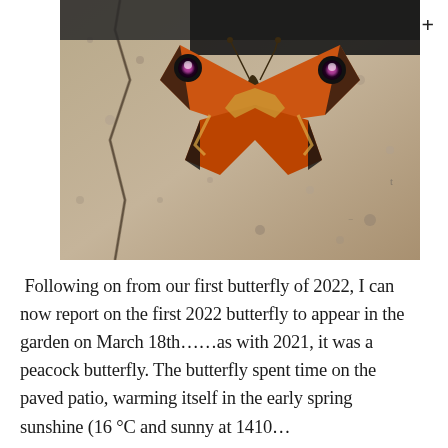[Figure (photo): Close-up photograph of a peacock butterfly resting on cracked paving stone, wings spread showing distinctive orange, black, and iridescent eye-spot markings.]
Following on from our first butterfly of 2022, I can now report on the first 2022 butterfly to appear in the garden on March 18th……as with 2021, it was a peacock butterfly. The butterfly spent time on the paved patio, warming itself in the early spring sunshine (16 °C and sunny at 1410…